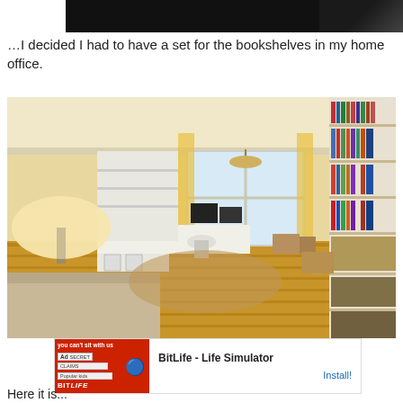[Figure (photo): Partially visible cropped video/image thumbnail — black background with slight gray gradient at top right]
…I decided I had to have a set for the bookshelves in my home office.
[Figure (photo): Home office room photo showing white shelving units, desks arranged in U-shape, bookshelves filled with books on the right wall, wooden floor, chandelier, and a lamp in the foreground]
[Figure (screenshot): Mobile advertisement for BitLife - Life Simulator app with red ad image showing 'you can't sit with us' text, Ad badge, and Install button]
Here it is...